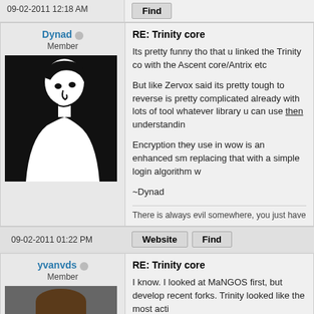09-02-2011 12:18 AM
Find
Dynad
Member
RE: Trinity core
Its pretty funny tho that u linked the Trinity co with the Ascent core/Antrix etc

But like Zervox said its pretty tough to reverse is pretty complicated already with lots of tool whatever library u can use then understandin

Encryption they use in wow is an enhanced sm replacing that with a simple login algorithm w

~Dynad
There is always evil somewhere, you just have
09-02-2011 01:22 PM
Website
Find
yvanvds
Member
RE: Trinity core
I know. I looked at MaNGOS first, but develop recent forks. Trinity looked like the most acti

And yes, starting myself with rakne myself. I think I can give this a month or so, a it. Like right now I start to see how they use se